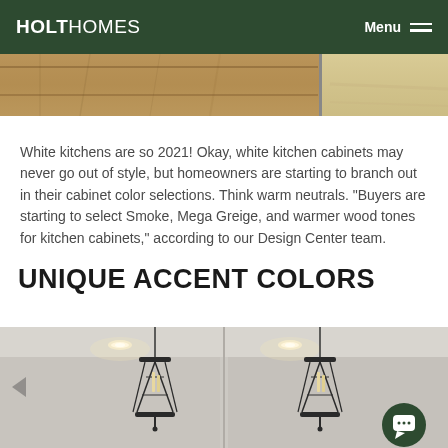HOLT HOMES | Menu
[Figure (photo): Partial view of kitchen cabinetry and flooring in warm wood tones, cropped at top of page]
White kitchens are so 2021! Okay, white kitchen cabinets may never go out of style, but homeowners are starting to branch out in their cabinet color selections. Think warm neutrals. "Buyers are starting to select Smoke, Mega Greige, and warmer wood tones for kitchen cabinets," according to our Design Center team.
UNIQUE ACCENT COLORS
[Figure (photo): Kitchen interior with pendant lantern-style lights hanging from ceiling, white walls and cabinets, neutral tones]